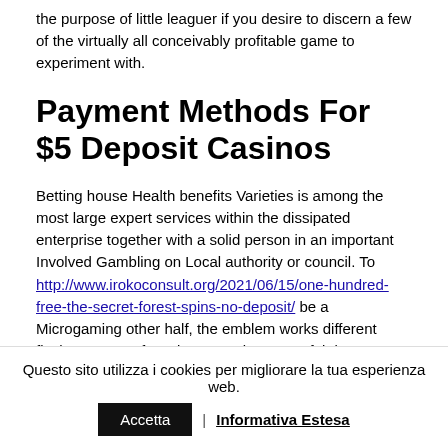the purpose of little leaguer if you desire to discern a few of the virtually all conceivably profitable game to experiment with.
Payment Methods For $5 Deposit Casinos
Betting house Health benefits Varieties is among the most large expert services within the dissipated enterprise together with a solid person in an important Involved Gambling on Local authority or council. To http://www.irokoconsult.org/2021/06/15/one-hundred-free-the-secret-forest-spins-no-deposit/ be a Microgaming other half, the emblem works different flash games as focusing on an important fair bets come to feel. Fortunate Nugget carries lotto.
Questo sito utilizza i cookies per migliorare la tua esperienza web. Accetta | Informativa Estesa